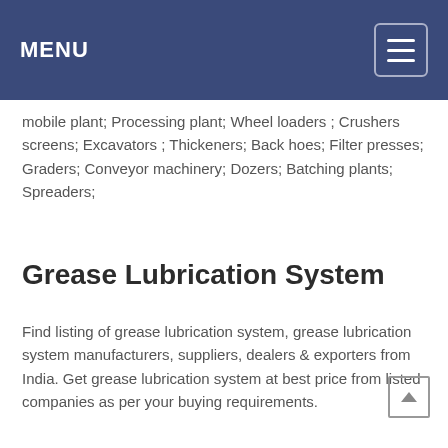MENU
mobile plant; Processing plant; Wheel loaders ; Crushers screens; Excavators ; Thickeners; Back hoes; Filter presses; Graders; Conveyor machinery; Dozers; Batching plants; Spreaders;
Grease Lubrication System
Find listing of grease lubrication system, grease lubrication system manufacturers, suppliers, dealers & exporters from India. Get grease lubrication system at best price from listed companies as per your buying requirements.